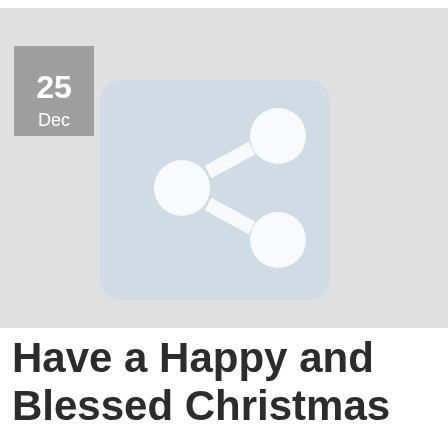[Figure (illustration): A light gray rectangular banner image with a darker gray square badge in the top-left corner showing '25' and 'Dec'. In the center-right area is a light blue rounded square containing a white share/network icon (three circles connected by lines). The overall background is light gray.]
Have a Happy and Blessed Christmas